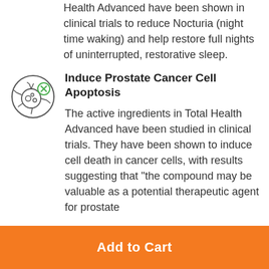Health Advanced have been shown in clinical trials to reduce Nocturia (night time waking) and help restore full nights of uninterrupted, restorative sleep.
[Figure (illustration): Circle icon showing a cancer cell with branching projections and a green X symbol indicating cell death/apoptosis]
Induce Prostate Cancer Cell Apoptosis
The active ingredients in Total Health Advanced have been studied in clinical trials. They have been shown to induce cell death in cancer cells, with results suggesting that "the compound may be valuable as a potential therapeutic agent for prostate
Add to Cart